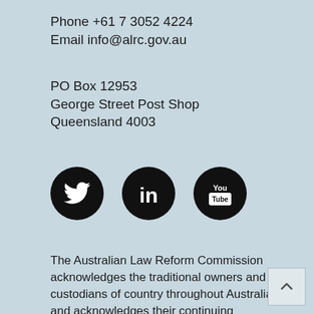Phone +61 7 3052 4224
Email info@alrc.gov.au
PO Box 12953
George Street Post Shop
Queensland 4003
[Figure (other): Three social media icons: Twitter (bird logo), LinkedIn (in logo), YouTube (YouTube logo), all black circles on light blue background]
The Australian Law Reform Commission acknowledges the traditional owners and custodians of country throughout Australia and acknowledges their continuing connection to land, sea and community. We pay our respects to the people, the cultures and the elders past, present and emerging.